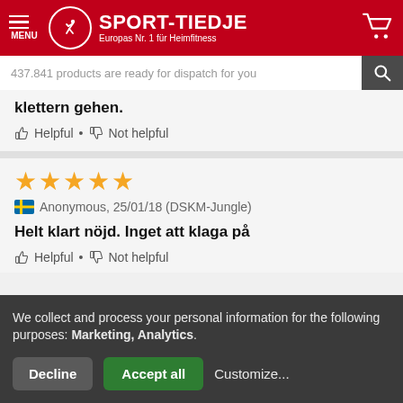SPORT-TIEDJE — Europas Nr. 1 für Heimfitness
437.841 products are ready for dispatch for you
klettern gehen.
Helpful • Not helpful
★★★★★
🇸🇪 Anonymous, 25/01/18 (DSKM-Jungle)
Helt klart nöjd. Inget att klaga på
Helpful • Not helpful
We collect and process your personal information for the following purposes: Marketing, Analytics.
Decline  Accept all  Customize...